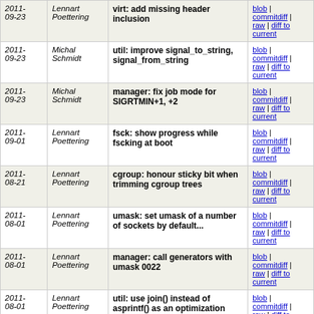| Date | Author | Commit message | Links |
| --- | --- | --- | --- |
| 2011-09-23 | Lennart Poettering | virt: add missing header inclusion | blob | commitdiff | raw | diff to current |
| 2011-09-23 | Michal Schmidt | util: improve signal_to_string, signal_from_string | blob | commitdiff | raw | diff to current |
| 2011-09-23 | Michal Schmidt | manager: fix job mode for SIGRTMIN+1, +2 | blob | commitdiff | raw | diff to current |
| 2011-09-01 | Lennart Poettering | fsck: show progress while fscking at boot | blob | commitdiff | raw | diff to current |
| 2011-08-21 | Lennart Poettering | cgroup: honour sticky bit when trimming cgroup trees | blob | commitdiff | raw | diff to current |
| 2011-08-01 | Lennart Poettering | umask: set umask of a number of sockets by default... | blob | commitdiff | raw | diff to current |
| 2011-08-01 | Lennart Poettering | manager: call generators with umask 0022 | blob | commitdiff | raw | diff to current |
| 2011-08-01 | Lennart Poettering | util: use join() instead of asprintf() as an optimization | blob | commitdiff | raw | diff to current |
| 2011-07-23 | Lennart Poettering | manager: add log control via RT signals | blob | commitdiff | raw | diff to current |
| 2011-07-22 | Lennart Poettering | path-lookup: make inclusion of user private units optional | blob | commitdiff | raw | diff to current |